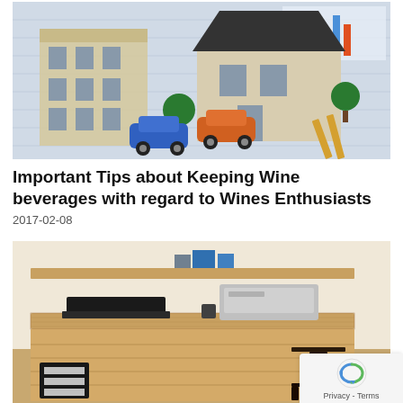[Figure (photo): Architectural model houses with toy cars on blueprint plans, with charts visible in background]
Important Tips about Keeping Wine beverages with regard to Wines Enthusiasts
2017-02-08
[Figure (photo): Wooden pallet desk workspace with laptop and printer]